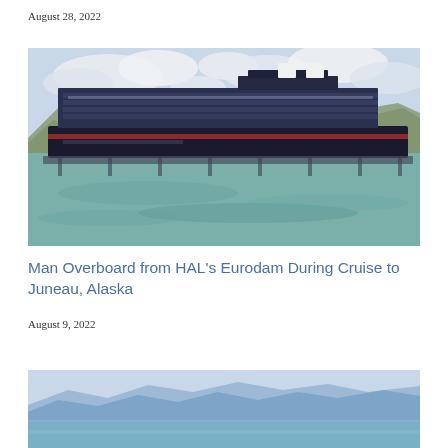August 28, 2022
[Figure (photo): Large cruise ship (HAL Eurodam) docked at port with mountains and cloudy sky in background, viewed from the water]
Man Overboard from HAL's Eurodam During Cruise to Juneau, Alaska
August 9, 2022
[Figure (photo): Partial view of a scenic coastal landscape with blue mountains and water, bottom of page]